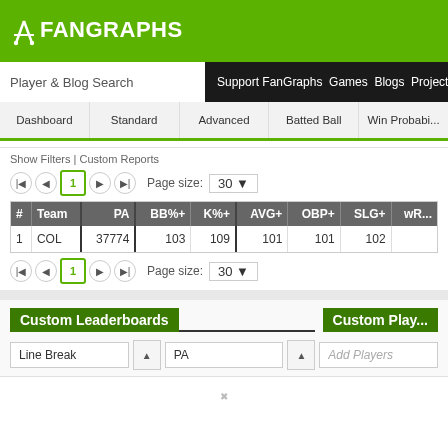FanGraphs
Player & Blog Search  Support FanGraphs Games Blogs Projectio...
Dashboard  Standard  Advanced  Batted Ball  Win Probabi...
Show Filters | Custom Reports
Page size: 30  (pagination row 1)
| # | Team | PA | BB%+ | K%+ | AVG+ | OBP+ | SLG+ | wR... |
| --- | --- | --- | --- | --- | --- | --- | --- | --- |
| 1 | COL | 37774 | 103 | 109 | 101 | 101 | 102 |  |
Page size: 30  (pagination row 2)
Custom Leaderboards
Custom Play...
Line Break   PA   Add Players